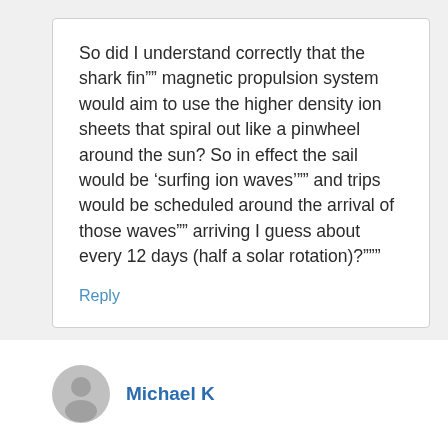So did I understand correctly that the shark fin"" magnetic propulsion system would aim to use the higher density ion sheets that spiral out like a pinwheel around the sun? So in effect the sail would be ‘surfing ion waves’"" and trips would be scheduled around the arrival of those waves"" arriving I guess about every 12 days (half a solar rotation)?"""
Reply
Michael K